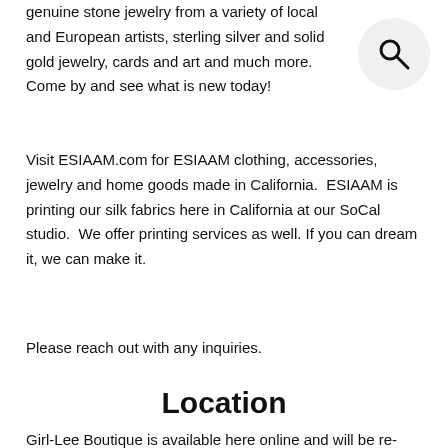genuine stone jewelry from a variety of local and European artists, sterling silver and solid gold jewelry, cards and art and much more.    Come by and see what is new today!
[Figure (illustration): Search icon — a magnifying glass symbol inside a light gray circle, positioned in the upper right corner]
Visit ESIAAM.com for ESIAAM clothing, accessories, jewelry and home goods made in California.  ESIAAM is printing our silk fabrics here in California at our SoCal studio.  We offer printing services as well. If you can dream it, we can make it.
Please reach out with any inquiries.
Location
Girl-Lee Boutique is available here online and will be re-locating